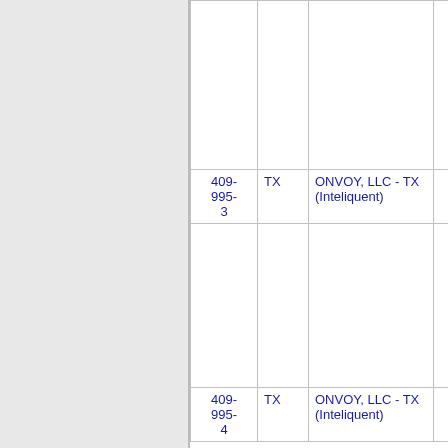| Number | State | Carrier | Extra |
| --- | --- | --- | --- |
|  |  |  |  |
| 409-995-3 | TX | ONVOY, LLC - TX (Inteliquent) | 9 |
|  |  |  |  |
| 409-995-4 | TX | ONVOY, LLC - TX (Inteliquent) | 9 |